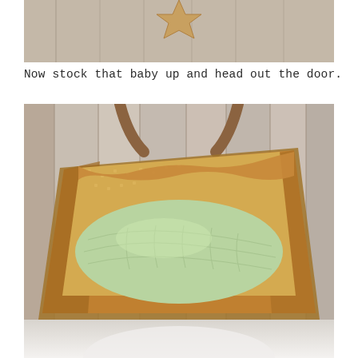[Figure (photo): Top portion of a photo showing a wooden plank wall background with what appears to be a decorative star shape at the top center, bottom of a bag visible]
Now stock that baby up and head out the door.
[Figure (photo): Open tote bag with brown/tan exterior and yellow patterned fabric lining, containing a light green quilted item, photographed from above against a wood plank background]
[Figure (photo): Bottom portion of another photo, showing a blurred light-colored item against white background]